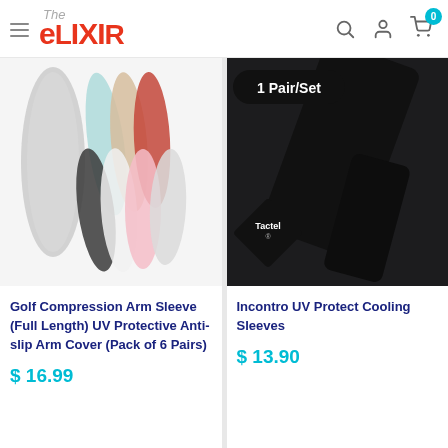The eLixir
[Figure (photo): Golf compression arm sleeves in multiple colors (gray, teal, beige, red, black, pink, white) shown as pairs]
Golf Compression Arm Sleeve (Full Length) UV Protective Anti-slip Arm Cover (Pack of 6 Pairs)
$ 16.99
[Figure (photo): Black UV protective cooling arm sleeves shown with '1 Pair/Set' badge and Tactel fabric label diamond badge]
Incontro UV Protect Cooling Sleeves
$ 13.90